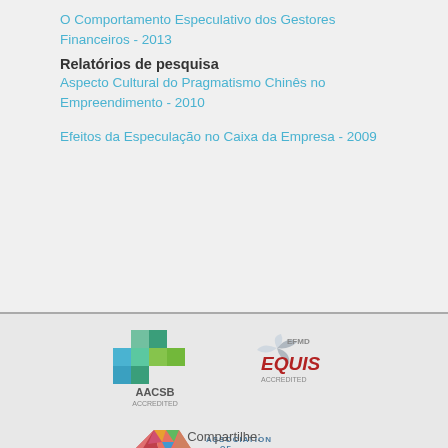O Comportamento Especulativo dos Gestores Financeiros - 2013
Relatórios de pesquisa
Aspecto Cultural do Pragmatismo Chinês no Empreendimento - 2010
Efeitos da Especulação no Caixa da Empresa - 2009
[Figure (logo): AACSB Accredited logo]
[Figure (logo): EFMD EQUIS Accredited logo]
[Figure (logo): Association of MBAs Accredited logo]
Compartilhe: